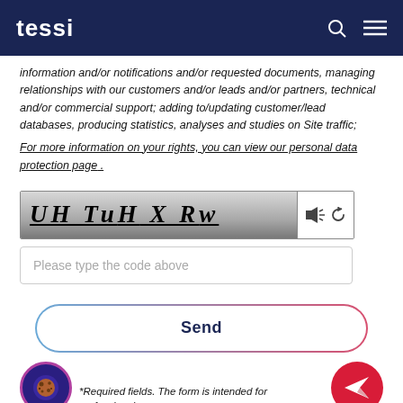tessi
information and/or notifications and/or requested documents, managing relationships with our customers and/or leads and/or partners, technical and/or commercial support; adding to/updating customer/lead databases, producing statistics, analyses and studies on Site traffic;
For more information on your rights, you can view our personal data protection page .
[Figure (other): CAPTCHA image showing text 'UHTuHXRw' with audio and refresh icons]
Please type the code above
Send
[Figure (illustration): Cookie consent icon (circular purple badge with cookie illustration)]
*Required fields. The form is intended for professionals.